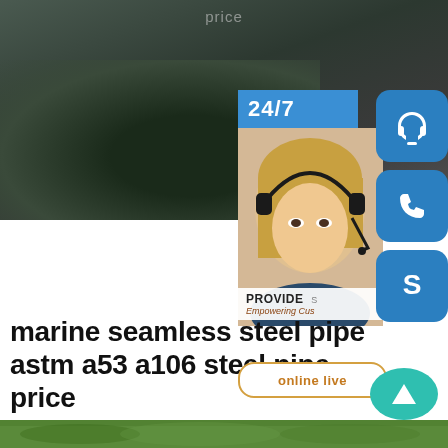price
[Figure (photo): Dark blurred bokeh background photo with green and dark tones, top half of page]
[Figure (infographic): Customer service contact widget: 24/7 badge, headset woman photo, PROVIDE / Empowering Customers text, online live button, and three blue icon buttons (headset, phone, Skype) on the right side]
marine seamless steel pipe astm a53 a106 steel pipe price
[Figure (photo): Green hedge/bush photo strip at bottom of page]